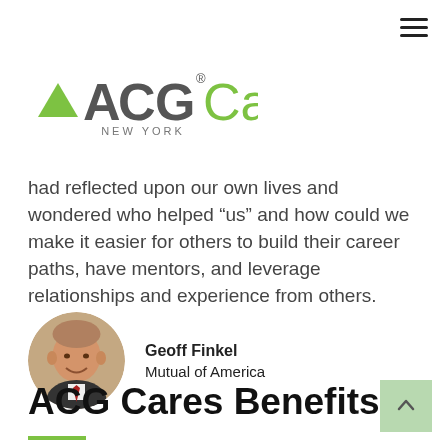[Figure (logo): ACG Cares New York logo with green triangle icon]
had reflected upon our own lives and wondered who helped “us” and how could we make it easier for others to build their career paths, have mentors, and leverage relationships and experience from others.
[Figure (photo): Headshot photo of Geoff Finkel in a circular crop]
Geoff Finkel
Mutual of America
ACG Cares Benefits